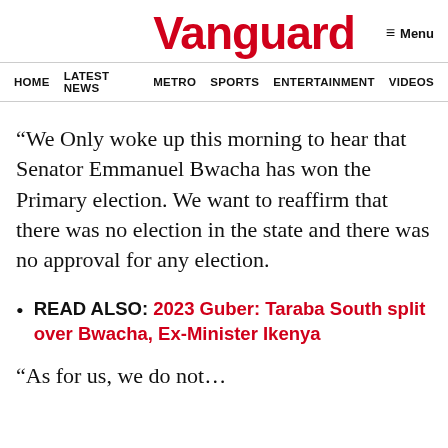Vanguard | Menu
HOME  LATEST NEWS  METRO  SPORTS  ENTERTAINMENT  VIDEOS
“We Only woke up this morning to hear that Senator Emmanuel Bwacha has won the Primary election. We want to reaffirm that there was no election in the state and there was no approval for any election.
READ ALSO: 2023 Guber: Taraba South split over Bwacha, Ex-Minister Ikenya
“As for us, we do not…